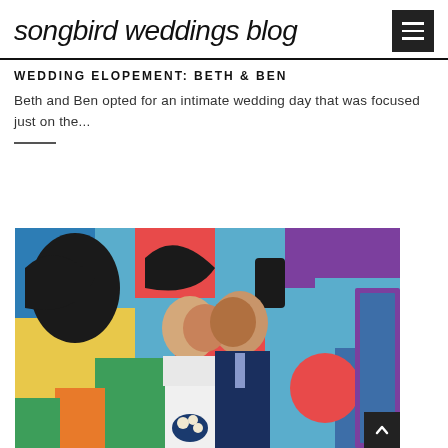songbird weddings blog
WEDDING ELOPEMENT: BETH & BEN
Beth and Ben opted for an intimate wedding day that was focused just on the...
[Figure (photo): Bride and groom kissing in front of a colorful graffiti mural wall. The bride is in a white lace dress holding a bouquet of navy blue and cream flowers. The groom is in a navy suit with a floral tie.]